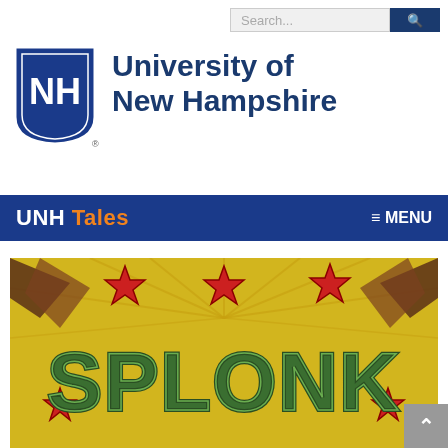Search...
[Figure (logo): University of New Hampshire shield logo — dark blue shield with white NH letters]
University of New Hampshire
UNH Tales  ≡ MENU
[Figure (illustration): Comic book style illustration on yellow background with red stars and the word SPLONK in large green letters]